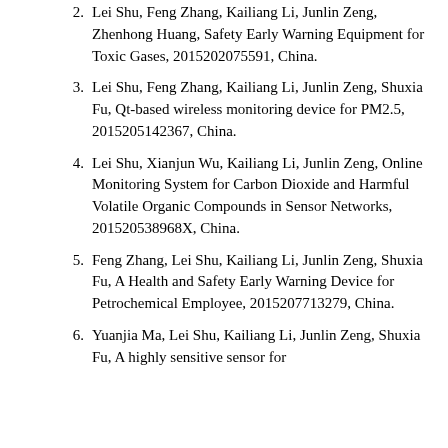Lei Shu, Feng Zhang, Kailiang Li, Junlin Zeng, Zhenhong Huang, Safety Early Warning Equipment for Toxic Gases, 2015202075591, China.
Lei Shu, Feng Zhang, Kailiang Li, Junlin Zeng, Shuxia Fu, Qt-based wireless monitoring device for PM2.5, 2015205142367, China.
Lei Shu, Xianjun Wu, Kailiang Li, Junlin Zeng, Online Monitoring System for Carbon Dioxide and Harmful Volatile Organic Compounds in Sensor Networks, 201520538968X, China.
Feng Zhang, Lei Shu, Kailiang Li, Junlin Zeng, Shuxia Fu, A Health and Safety Early Warning Device for Petrochemical Employee, 2015207713279, China.
Yuanjia Ma, Lei Shu, Kailiang Li, Junlin Zeng, Shuxia Fu, A highly sensitive sensor for